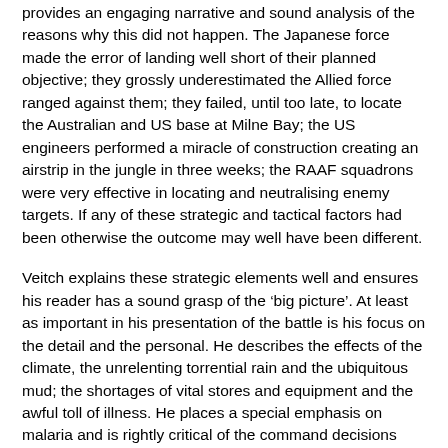provides an engaging narrative and sound analysis of the reasons why this did not happen. The Japanese force made the error of landing well short of their planned objective; they grossly underestimated the Allied force ranged against them; they failed, until too late, to locate the Australian and US base at Milne Bay; the US engineers performed a miracle of construction creating an airstrip in the jungle in three weeks; the RAAF squadrons were very effective in locating and neutralising enemy targets. If any of these strategic and tactical factors had been otherwise the outcome may well have been different.
Veitch explains these strategic elements well and ensures his reader has a sound grasp of the ‘big picture’. At least as important in his presentation of the battle is his focus on the detail and the personal. He describes the effects of the climate, the unrelenting torrential rain and the ubiquitous mud; the shortages of vital stores and equipment and the awful toll of illness. He places a special emphasis on malaria and is rightly critical of the command decisions that did little to ameliorate effects.
There are many well balanced and engaging pen portraits of individual commanders at various levels and of soldiers and